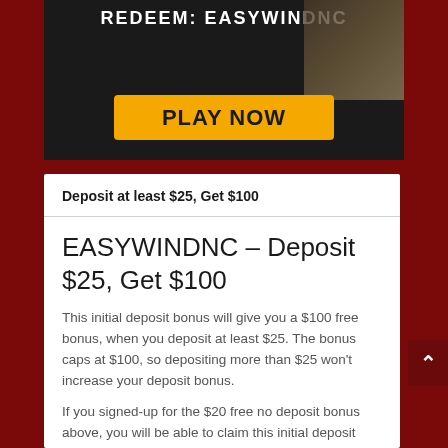[Figure (screenshot): Dark banner with text 'REDEEM: EASYWINDNC' and card game images, with an orange 'PLAY NOW' button]
Deposit at least $25, Get $100
EASYWINDNC – Deposit $25, Get $100
This initial deposit bonus will give you a $100 free bonus, when you deposit at least $25. The bonus caps at $100, so depositing more than $25 won't increase your deposit bonus.
If you signed-up for the $20 free no deposit bonus above, you will be able to claim this initial deposit bonus. you can also sign-up directly for the $100 free deposit bonus, if you wish to forego the no deposit bonus. To do so, click on the following link and register for an